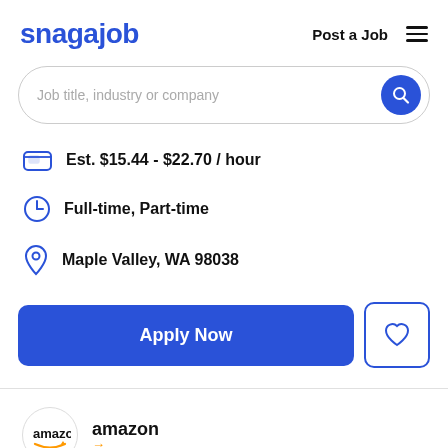snagajob
Post a Job
Job title, industry or company
Est. $15.44 - $22.70 / hour
Full-time, Part-time
Maple Valley, WA 98038
Apply Now
[Figure (logo): Amazon logo with smile arrow in a circle]
amazon